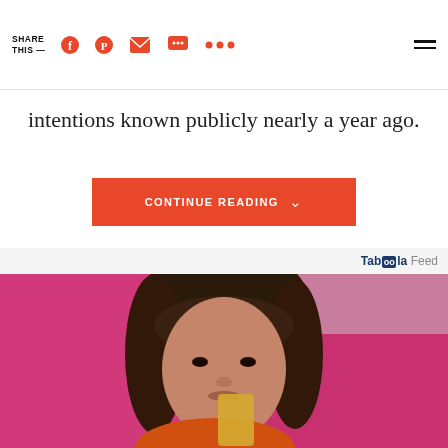SHARE THIS —
intentions known publicly nearly a year ago.
CONTINUE READING
Taboola Feed
[Figure (photo): A woman with brunette hair and bangs looking at the camera, holding a golden card near her mouth, wearing an orange top, against a pink background.]